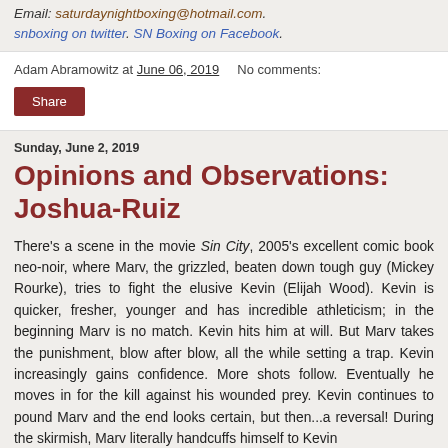Email: saturdaynightboxing@hotmail.com. snboxing on twitter. SN Boxing on Facebook.
Adam Abramowitz at June 06, 2019    No comments:
Share
Sunday, June 2, 2019
Opinions and Observations: Joshua-Ruiz
There's a scene in the movie Sin City, 2005's excellent comic book neo-noir, where Marv, the grizzled, beaten down tough guy (Mickey Rourke), tries to fight the elusive Kevin (Elijah Wood). Kevin is quicker, fresher, younger and has incredible athleticism; in the beginning Marv is no match. Kevin hits him at will. But Marv takes the punishment, blow after blow, all the while setting a trap. Kevin increasingly gains confidence. More shots follow. Eventually he moves in for the kill against his wounded prey. Kevin continues to pound Marv and the end looks certain, but then...a reversal! During the skirmish, Marv literally handcuffs himself to Kevin